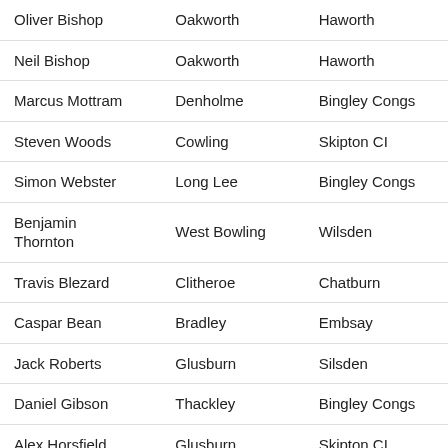| Oliver Bishop | Oakworth | Haworth |
| Neil Bishop | Oakworth | Haworth |
| Marcus Mottram | Denholme | Bingley Congs |
| Steven Woods | Cowling | Skipton CI |
| Simon Webster | Long Lee | Bingley Congs |
| Benjamin Thornton | West Bowling | Wilsden |
| Travis Blezard | Clitheroe | Chatburn |
| Caspar Bean | Bradley | Embsay |
| Jack Roberts | Glusburn | Silsden |
| Daniel Gibson | Thackley | Bingley Congs |
| Alex Horsfield | Glusburn | Skipton CI |
| Anthony Haigh | Cononley | Haworth |
| … | … | … |